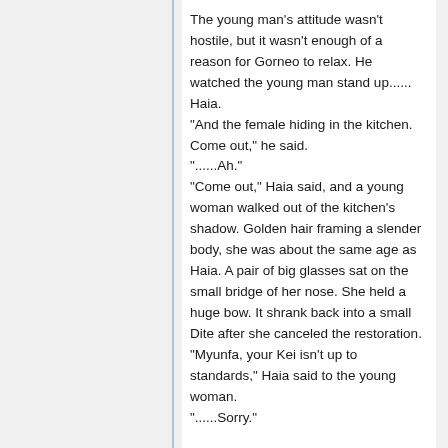The young man's attitude wasn't hostile, but it wasn't enough of a reason for Gorneo to relax. He watched the young man stand up...... Haia.
"And the female hiding in the kitchen. Come out," he said.
"......Ah."
"Come out," Haia said, and a young woman walked out of the kitchen's shadow. Golden hair framing a slender body, she was about the same age as Haia. A pair of big glasses sat on the small bridge of her nose. She held a huge bow. It shrank back into a small Dite after she canceled the restoration.
"Myunfa, your Kei isn't up to standards," Haia said to the young woman.
"......Sorry."